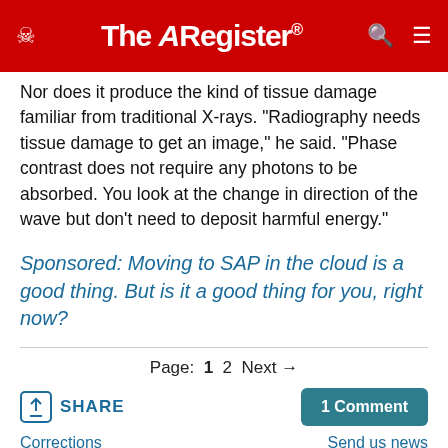The Register
Nor does it produce the kind of tissue damage familiar from traditional X-rays. "Radiography needs tissue damage to get an image," he said. "Phase contrast does not require any photons to be absorbed. You look at the change in direction of the wave but don't need to deposit harmful energy."
Sponsored: Moving to SAP in the cloud is a good thing. But is it a good thing for you, right now?
Page: 1 2 Next →
SHARE
1 Comment
Corrections    Send us news